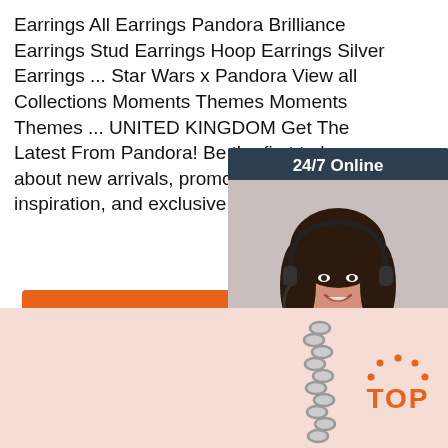Earrings All Earrings Pandora Brilliance Earrings Stud Earrings Hoop Earrings Silver Earrings ... Star Wars x Pandora View all Collections Moments Themes Moments Themes ... UNITED KINGDOM Get The Latest From Pandora! Be the first to know about new arrivals, promotions, style inspiration, and exclusive sneak peeks. ...
[Figure (photo): Customer service representative chat widget with '24/7 Online' header, photo of smiling woman with headset, 'Click here for free chat!' text, and orange QUOTATION button]
[Figure (other): Orange 'Get Price' button]
[Figure (photo): Bottom section with pinkish-beige background showing a silver chain and an orange 'TOP' back-to-top button with dot decorations]